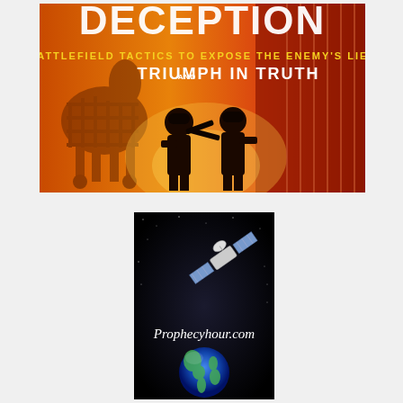[Figure (illustration): Book cover image with title 'DECEPTION - BATTLEFIELD TACTICS TO EXPOSE THE ENEMY'S LIES AND TRIUMPH IN TRUTH'. Shows silhouettes of soldiers against an orange/red background with what appears to be a Trojan horse on the left.]
[Figure (logo): Prophecyhour.com logo on black background featuring a satellite, the Earth globe, and the text 'Prophecyhour.com' in white italic font.]